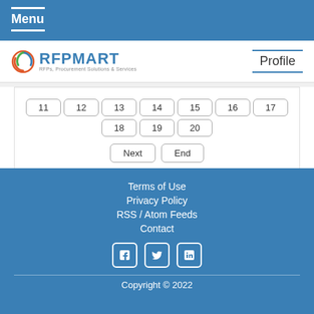Menu
[Figure (logo): RFPMART logo with tagline: RFPs, Procurement Solutions & Services]
Profile
11 12 13 14 15 16 17 18 19 20
Next  End
Pages 1 of 88
Terms of Use
Privacy Policy
RSS / Atom Feeds
Contact
Copyright © 2022